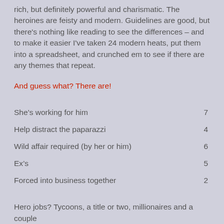rich, but definitely powerful and charismatic. The heroines are feisty and modern. Guidelines are good, but there's nothing like reading to see the differences – and to make it easier I've taken 24 modern heats, put them into a spreadsheet, and crunched em to see if there are any themes that repeat.
And guess what? There are!
|  |  |
| --- | --- |
| She's working for him | 7 |
| Help distract the paparazzi | 4 |
| Wild affair required (by her or him) | 6 |
| Ex's | 5 |
| Forced into business together | 2 |
Hero jobs? Tycoons, a title or two, millionaires and a couple